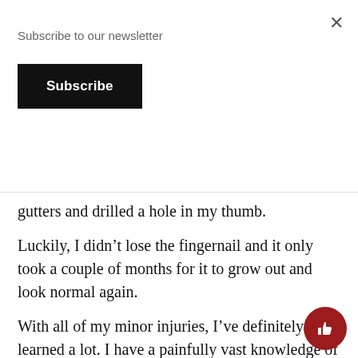Subscribe to our newsletter
Subscribe
gutters and drilled a hole in my thumb.
Luckily, I didn't lose the fingernail and it only took a couple of months for it to grow out and look normal again.
With all of my minor injuries, I've definitely learned a lot. I have a painfully vast knowledge of tools and I know how to make things level and square.
While the things that I've learned in the last seven years will help me take care of my home someday in the future, the lesson that has been most valuable is that you can't let labels define who you